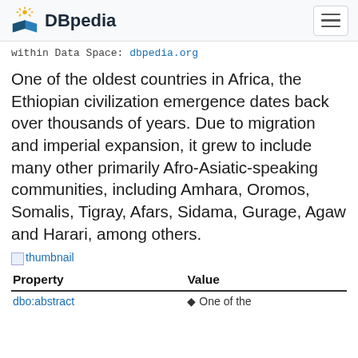DBpedia
within Data Space: dbpedia.org
One of the oldest countries in Africa, the Ethiopian civilization emergence dates back over thousands of years. Due to migration and imperial expansion, it grew to include many other primarily Afro-Asiatic-speaking communities, including Amhara, Oromos, Somalis, Tigray, Afars, Sidama, Gurage, Agaw and Harari, among others.
[Figure (other): thumbnail image link]
| Property | Value |
| --- | --- |
| dbo:abstract | One of the |